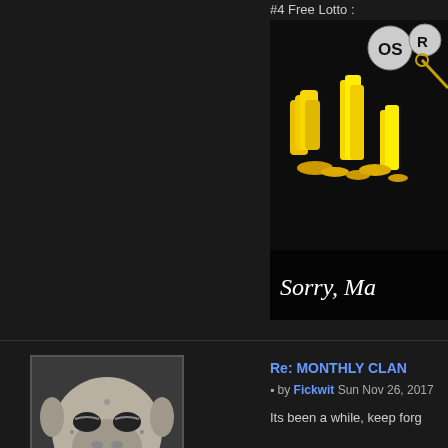#4  Free Lotto  :
[Figure (screenshot): Cropped game screenshot showing yellow coins/gold bars and text reading 'Sorry, Ma...' with 'OSR' logo partially visible in top right]
[Figure (photo): User avatar showing a grey/white monster or creature character face]
Fickwit
[Figure (illustration): Donor badge: pink/purple rounded rectangle with coin icon and text '$20+ DONATOR' and green stripes on right]
Posts : 48
Reputation : 0
Join date : 2015-10-23
Re: MONTHLY CLAN...
by Fickwit Sun Nov 26, 2017...
Its been a while, keep forg...
Re: MONTHLY CLAN...
by Advice Bot Sun Nov 26, 20...
[Figure (logo): OSRS yellow italic bold logo text partially visible at bottom left]